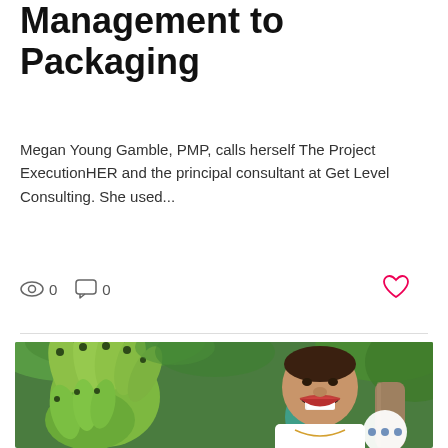Management to Packaging
Megan Young Gamble, PMP, calls herself The Project ExecutionHER and the principal consultant at Get Level Consulting. She used...
[Figure (photo): Woman smiling and laughing outdoors next to large bunches of green bananas on a banana tree, with tropical greenery in background. She wears a white shirt. A circular button with three dots appears bottom right.]